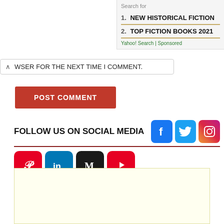Search for
1. NEW HISTORICAL FICTION
2. TOP FICTION BOOKS 2021
Yahoo! Search | Sponsored
WSER FOR THE NEXT TIME I COMMENT.
POST COMMENT
FOLLOW US ON SOCIAL MEDIA
[Figure (infographic): Social media icons row 1: Facebook (blue), Twitter (blue), Instagram (gradient pink/red)]
[Figure (infographic): Social media icons row 2: Pinterest (red), LinkedIn (blue), Medium (black), YouTube (red)]
[Figure (other): Advertisement banner with light yellow background]